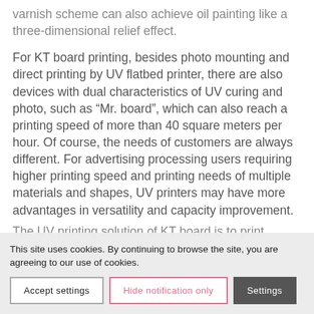varnish scheme can also achieve oil painting like a three-dimensional relief effect.
For KT board printing, besides photo mounting and direct printing by UV flatbed printer, there are also devices with dual characteristics of UV curing and photo, such as “Mr. board”, which can also reach a printing speed of more than 40 square meters per hour. Of course, the needs of customers are always different. For advertising processing users requiring higher printing speed and printing needs of multiple materials and shapes, UV printers may have more advantages in versatility and capacity improvement.
The UV printing solution of KT board is to print … flatbed … ESSORS
This site uses cookies. By continuing to browse the site, you are agreeing to our use of cookies.
Accept settings
Hide notification only
Settings